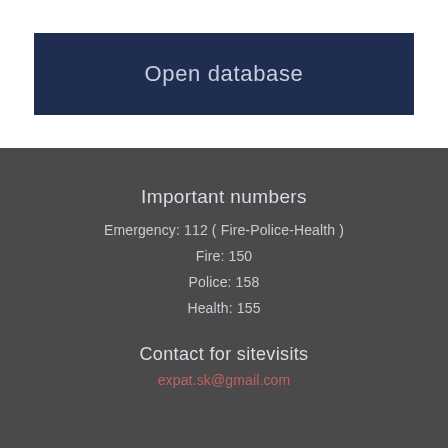Open database
Important numbers
Emergency: 112 ( Fire-Police-Health )
Fire: 150
Police: 158
Health: 155
Contact for sitevisits
expat.sk@gmail.com